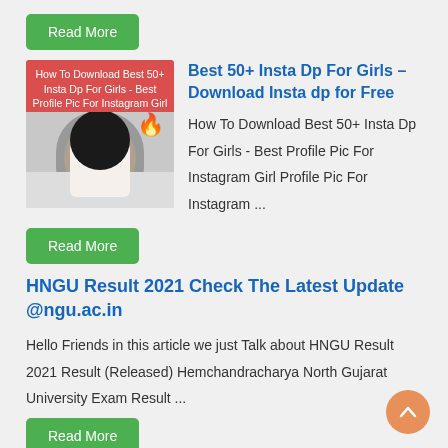Read More
[Figure (photo): Thumbnail image for Best 50+ Insta Dp For Girls article with red overlay text and fire emoji]
Best 50+ Insta Dp For Girls – Download Insta dp for Free
How To Download Best 50+ Insta Dp For Girls - Best Profile Pic For Instagram Girl Profile Pic For Instagram ...
Read More
HNGU Result 2021 Check The Latest Update @ngu.ac.in
Hello Friends in this article we just Talk about HNGU Result 2021 Result (Released) Hemchandracharya North Gujarat University Exam Result ...
Read More